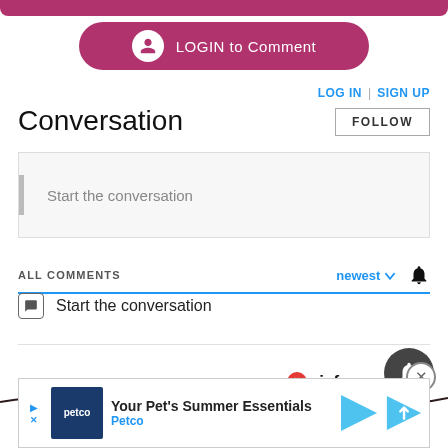[Figure (screenshot): Partial top bar - truncated pink/rose LOGIN button bar from above]
[Figure (screenshot): LOGIN to Comment button - rose/pink rounded rectangle with person icon]
LOG IN  |  SIGN UP
Conversation
[Figure (screenshot): FOLLOW button]
Start the conversation
ALL COMMENTS
newest ∨
Start the conversation
Powered by viafoura
[Figure (screenshot): Dark circular bell notification button and X close button]
[Figure (screenshot): Decorative wave/squiggle divider line]
[Figure (screenshot): Petco advertisement banner - Your Pet's Summer Essentials]